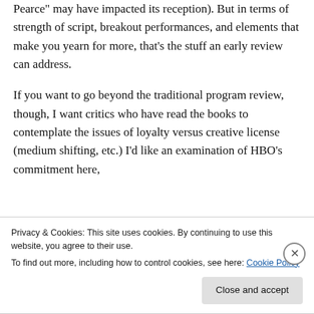Pearce" may have impacted its reception). But in terms of strength of script, breakout performances, and elements that make you yearn for more, that's the stuff an early review can address.
If you want to go beyond the traditional program review, though, I want critics who have read the books to contemplate the issues of loyalty versus creative license (medium shifting, etc.) I'd like an examination of HBO's commitment here, and a consideration of how to tread this trust...
Privacy & Cookies: This site uses cookies. By continuing to use this website, you agree to their use.
To find out more, including how to control cookies, see here: Cookie Policy